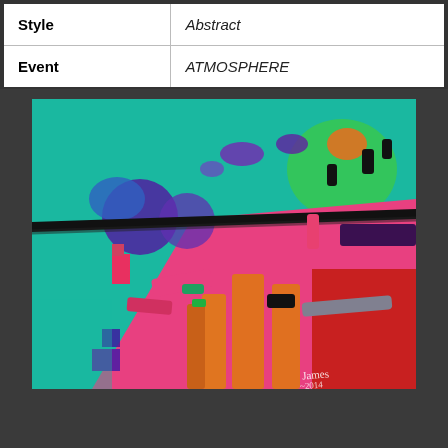| Style | Abstract |
| Event | ATMOSPHERE |
[Figure (photo): Abstract painting with vibrant colors — teal/green background, large areas of pink/magenta and red, with bold brushstrokes of orange, purple, blue, and black. A diagonal black horizontal line runs across the upper portion. Artist signature visible in lower right corner.]